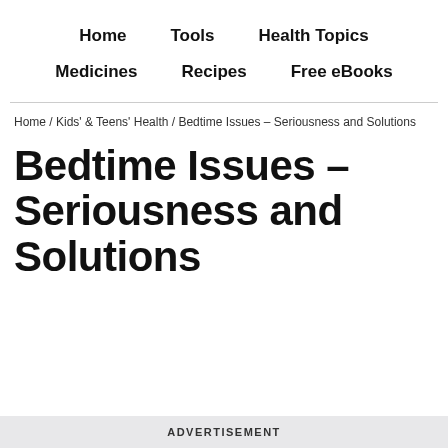Home   Tools   Health Topics   Medicines   Recipes   Free eBooks
Home / Kids' & Teens' Health / Bedtime Issues – Seriousness and Solutions
Bedtime Issues – Seriousness and Solutions
ADVERTISEMENT